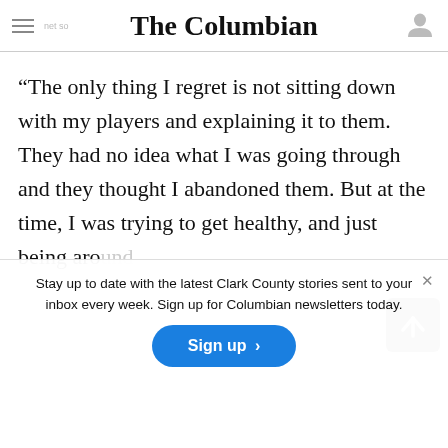The Columbian
“The only thing I regret is not sitting down with my players and explaining it to them. They had no idea what I was going through and they thought I abandoned them. But at the time, I was trying to get healthy, and just being around
Stay up to date with the latest Clark County stories sent to your inbox every week. Sign up for Columbian newsletters today.
Sign up >